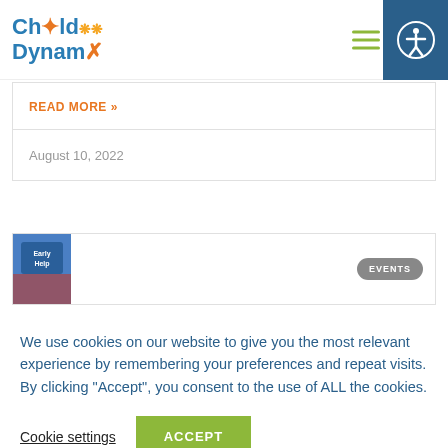Child Dynamix
READ MORE »
August 10, 2022
[Figure (photo): Early Help card image]
EVENTS
We use cookies on our website to give you the most relevant experience by remembering your preferences and repeat visits. By clicking “Accept”, you consent to the use of ALL the cookies.
Cookie settings  ACCEPT